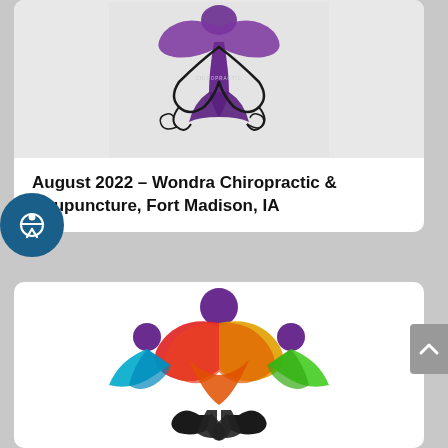[Figure (logo): Wondra Chiropractic logo: purple and black decorative figure with swirls, butterfly/phoenix motif, and 'CHIROPRACTIC' text, on light gray background]
August 2022 – Wondra Chiropractic & Acupuncture, Fort Madison, IA
[Figure (logo): Colorful wellness/chiropractic logo showing stylized people figures in rainbow colors (red, orange, yellow, green, blue, purple) with raised arms, black hand silhouettes below, on white background]